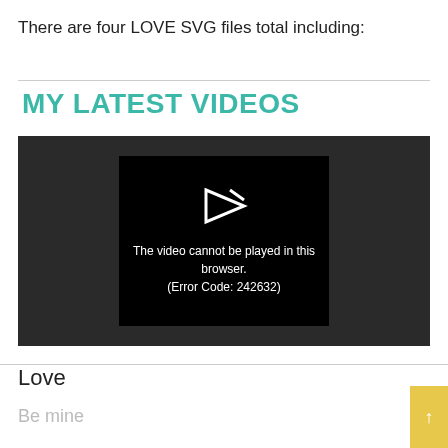There are four LOVE SVG files total including:
MY LATEST VIDEOS
[Figure (screenshot): Video player showing error message: 'The video cannot be played in this browser. (Error Code: 242632)']
Love
Be mine